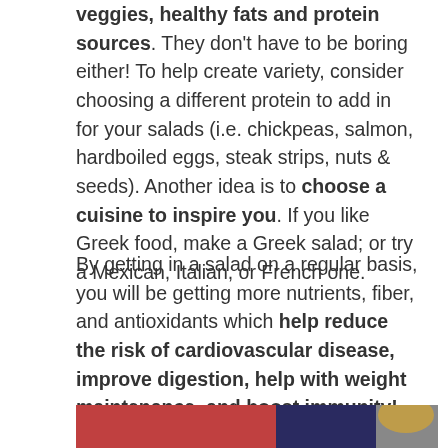veggies, healthy fats and protein sources. They don't have to be boring either! To help create variety, consider choosing a different protein to add in for your salads (i.e. chickpeas, salmon, hardboiled eggs, steak strips, nuts & seeds). Another idea is to choose a cuisine to inspire you. If you like Greek food, make a Greek salad; or try a Mexican, Italian, or French one.
By getting in a salad on a regular basis, you will be getting more nutrients, fiber, and antioxidants which help reduce the risk of cardiovascular disease, improve digestion, help with weight maintenance, and boost immunity! Here's an template for a Mediterranean Salad; feel free to add items to make it your own!
[Figure (photo): Photo of a Mediterranean salad with colorful ingredients on a red background, showing bowls and jars]